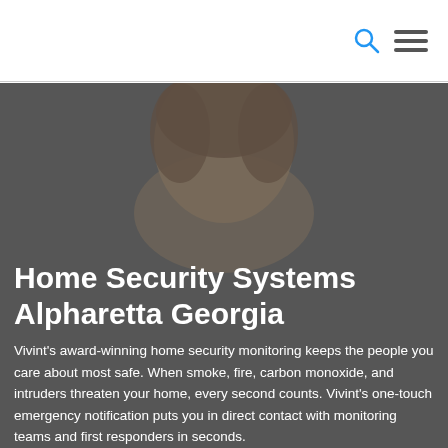[Figure (photo): Background photo of a smiling woman looking down, with a dark overlay. Hero image for a home security website.]
Home Security Systems Alpharetta Georgia
Vivint's award-winning home security monitoring keeps the people you care about most safe. When smoke, fire, carbon monoxide, and intruders threaten your home, every second counts. Vivint's one-touch emergency notification puts you in direct contact with monitoring teams and first responders in seconds.